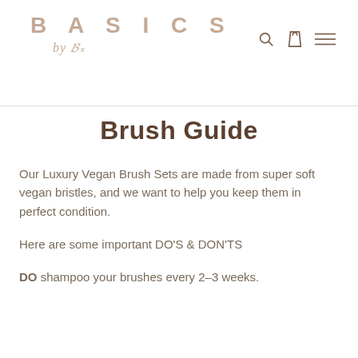BASICS by B
Brush Guide
Our Luxury Vegan Brush Sets are made from super soft vegan bristles, and we want to help you keep them in perfect condition.
Here are some important DO'S & DON'TS
DO shampoo your brushes every 2-3 weeks.